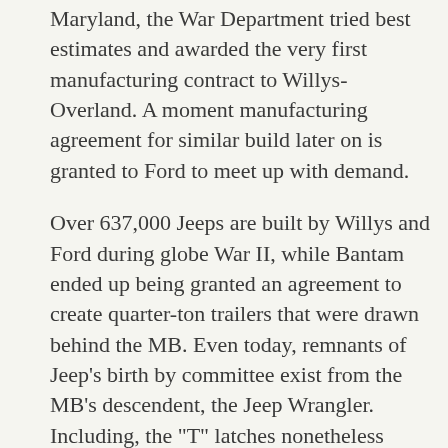Maryland, the War Department tried best estimates and awarded the very first manufacturing contract to Willys-Overland. A moment manufacturing agreement for similar build later on is granted to Ford to meet up with demand.
Over 637,000 Jeeps are built by Willys and Ford during globe War II, while Bantam ended up being granted an agreement to create quarter-ton trailers that were drawn behind the MB. Even today, remnants of Jeep's birth by committee exist from the MB's descendent, the Jeep Wrangler. Including, the "T" latches nonetheless familiar with hold-down the bonnet had been a Ford development, as is the single-piece, stamped slotted grille with round headlights that Jeep furthermore uses